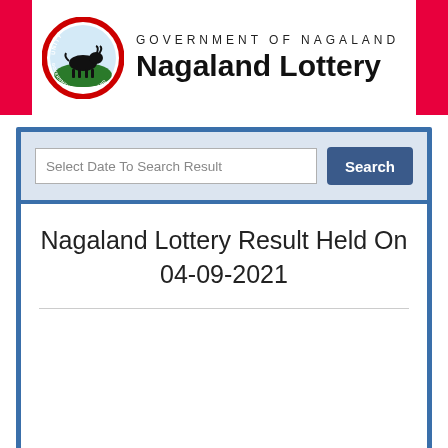[Figure (logo): Government of Nagaland seal/emblem — circular red-bordered badge with a bull silhouette on green ground and text 'UNITY / GOVERNMENT OF NAGALAND']
GOVERNMENT OF NAGALAND Nagaland Lottery
Select Date To Search Result
Search
Nagaland Lottery Result Held On 04-09-2021